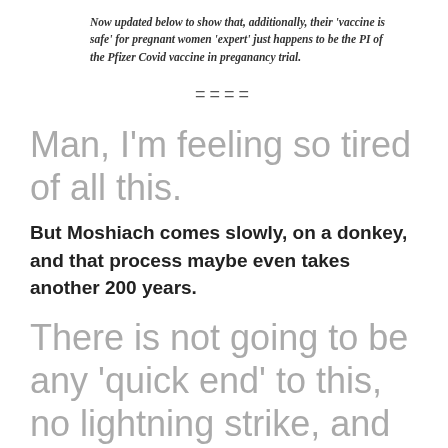Now updated below to show that, additionally, their 'vaccine is safe' for pregnant women 'expert' just happens to be the PI of the Pfizer Covid vaccine in preganancy trial.
====
Man, I'm feeling so tired of all this.
But Moshiach comes slowly, on a donkey, and that process maybe even takes another 200 years.
There is not going to be any 'quick end' to this, no lightning strike, and then all the 'bad' just disappears by itself.